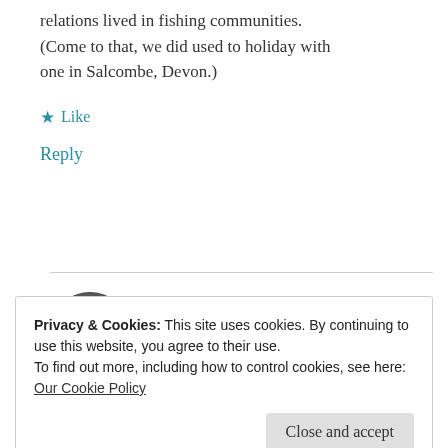relations lived in fishing communities. (Come to that, we did used to holiday with one in Salcombe, Devon.)
★ Like
Reply
Cathy Cade
JULY 6, 2021 AT 11:22 AM
Privacy & Cookies: This site uses cookies. By continuing to use this website, you agree to their use.
To find out more, including how to control cookies, see here:
Our Cookie Policy
Close and accept
★ Like